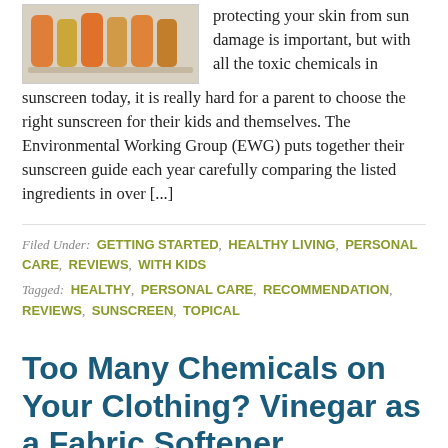[Figure (photo): Row of sunscreen bottles/tubes in orange, yellow, and brown colors on a shelf]
protecting your skin from sun damage is important, but with all the toxic chemicals in sunscreen today, it is really hard for a parent to choose the right sunscreen for their kids and themselves. The Environmental Working Group (EWG) puts together their sunscreen guide each year carefully comparing the listed ingredients in over [...]
Filed Under: GETTING STARTED, HEALTHY LIVING, PERSONAL CARE, REVIEWS, WITH KIDS
Tagged: HEALTHY, PERSONAL CARE, RECOMMENDATION, REVIEWS, SUNSCREEN, TOPICAL
Too Many Chemicals on Your Clothing? Vinegar as a Fabric Softener
Posted on MARCH 2, 2012   Written by IGGYAA   7 COMMENTS